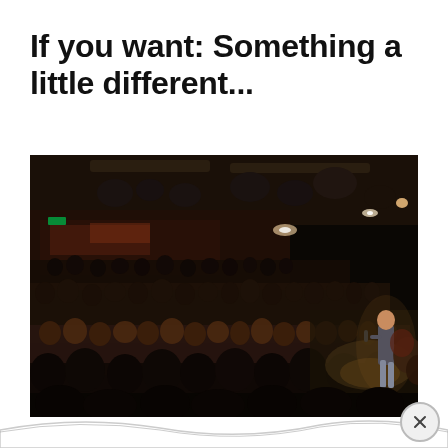If you want: Something a little different...
[Figure (photo): A comedian or speaker stands on a lit stage at the right side, facing a large packed audience in a dark comedy club or theatre venue. Stage lighting rigs visible overhead. Audience fills the space from floor to distant bar area.]